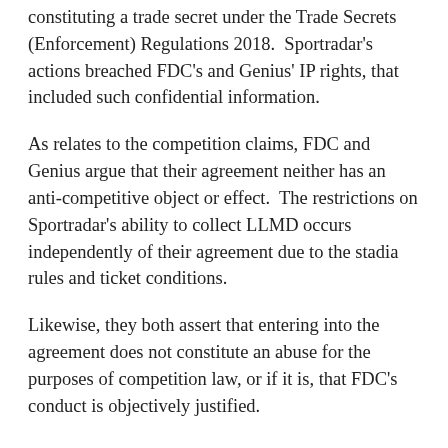constituting a trade secret under the Trade Secrets (Enforcement) Regulations 2018.  Sportradar's actions breached FDC's and Genius' IP rights, that included such confidential information.
As relates to the competition claims, FDC and Genius argue that their agreement neither has an anti-competitive object or effect.  The restrictions on Sportradar's ability to collect LLMD occurs independently of their agreement due to the stadia rules and ticket conditions.
Likewise, they both assert that entering into the agreement does not constitute an abuse for the purposes of competition law, or if it is, that FDC's conduct is objectively justified.
Potential practical implications
The outcome of the case would…